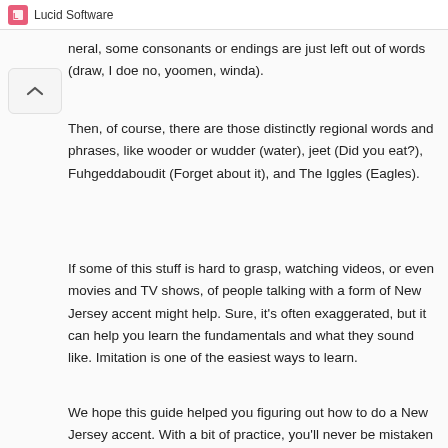Lucid Software
neral, some consonants or endings are just left out of words (draw, I doe no, yoomen, winda).
Then, of course, there are those distinctly regional words and phrases, like wooder or wudder (water), jeet (Did you eat?), Fuhgeddaboudit (Forget about it), and The Iggles (Eagles).
If some of this stuff is hard to grasp, watching videos, or even movies and TV shows, of people talking with a form of New Jersey accent might help. Sure, it's often exaggerated, but it can help you learn the fundamentals and what they sound like. Imitation is one of the easiest ways to learn.
We hope this guide helped you figuring out how to do a New Jersey accent. With a bit of practice, you'll never be mistaken for a tourist again! Be sure to brush up on your